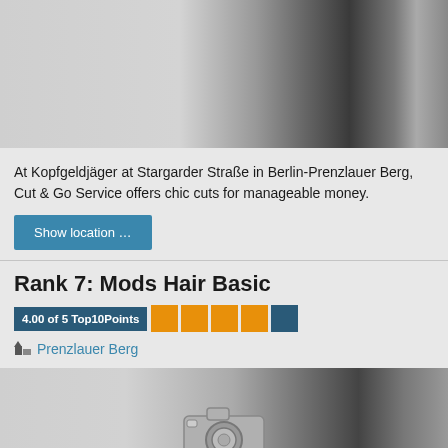[Figure (photo): Grayscale photo with dark gradient on right side]
At Kopfgeldjäger at Stargarder Straße in Berlin-Prenzlauer Berg, Cut & Go Service offers chic cuts for manageable money.
Show location …
Rank 7: Mods Hair Basic
4.00 of 5 Top10Points
Prenzlauer Berg
[Figure (photo): Grayscale photo with camera placeholder icon and dark gradient on right side]